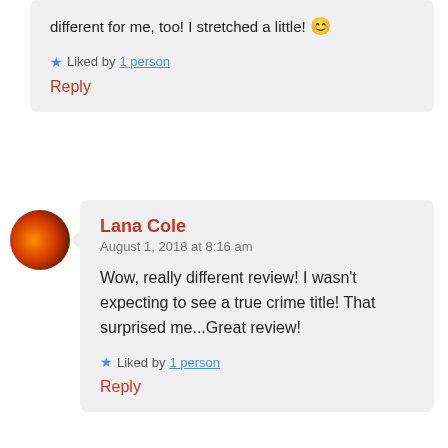different for me, too! I stretched a little! 😊
Liked by 1 person
Reply
[Figure (photo): Circular avatar photo showing a fire/flame image with orange and red colors]
Lana Cole
August 1, 2018 at 8:16 am
Wow, really different review! I wasn't expecting to see a true crime title! That surprised me...Great review!
Liked by 1 person
Reply